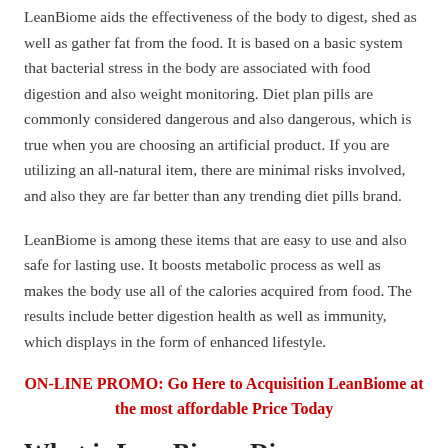LeanBiome aids the effectiveness of the body to digest, shed as well as gather fat from the food. It is based on a basic system that bacterial stress in the body are associated with food digestion and also weight monitoring. Diet plan pills are commonly considered dangerous and also dangerous, which is true when you are choosing an artificial product. If you are utilizing an all-natural item, there are minimal risks involved, and also they are far better than any trending diet pills brand.
LeanBiome is among these items that are easy to use and also safe for lasting use. It boosts metabolic process as well as makes the body use all of the calories acquired from food. The results include better digestion health as well as immunity, which displays in the form of enhanced lifestyle.
ON-LINE PROMO: Go Here to Acquisition LeanBiome at the most affordable Price Today
What is LeanBiome Di...